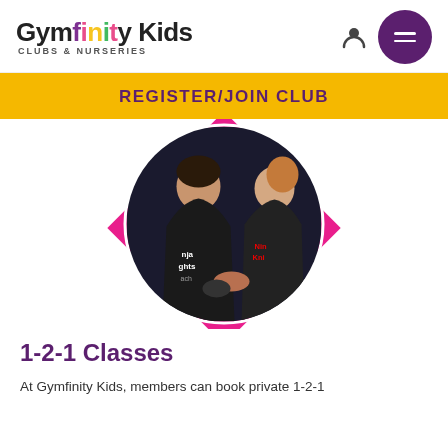Gymfinity Kids CLUBS & NURSERIES
REGISTER/JOIN CLUB
[Figure (photo): Two people in Ninja Knights t-shirts, one coaching the other, shown inside a circular frame with a pink diamond/rhombus shape behind it.]
1-2-1 Classes
At Gymfinity Kids, members can book private 1-2-1